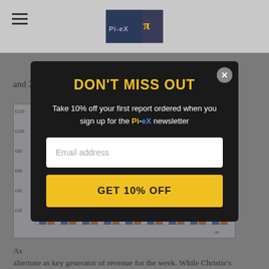Pi-eX newsletter site header with hamburger menu and logo
and 2018.
[Figure (bar-chart): Bar chart showing revenue data, partially obscured by modal overlay. Y-axis labels partially visible: £120, £100, £80, £60, £40, £20. X-axis shows years ending in ...09.]
DON'T MISS OUT
Take 10% off your first report ordered when you sign up for the Pi-eX newsletter
Email address
GET 10% OFF
As...
alternate as key generator of revenue for the week. While Christie's dominated the December London Old Master Sales in 2009 and 2018, Sotheby's clearly was leading the Week from 2012 to 2014.